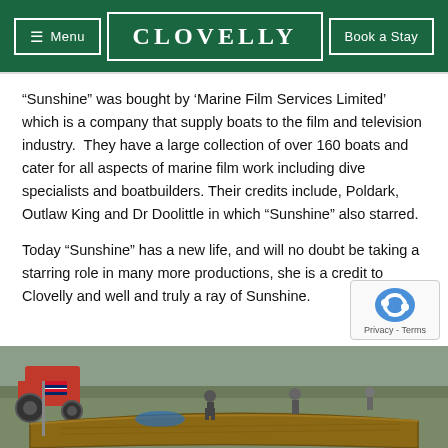Menu | CLOVELLY | Book a Stay
“Sunshine” was bought by ‘Marine Film Services Limited’ which is a company that supply boats to the film and television industry.  They have a large collection of over 160 boats and cater for all aspects of marine film work including dive specialists and boatbuilders. Their credits include, Poldark, Outlaw King and Dr Doolittle in which “Sunshine” also starred.
Today “Sunshine” has a new life, and will no doubt be taking a starring role in many more productions, she is a credit to Clovelly and well and truly a ray of Sunshine.
[Figure (photo): Outdoor scene showing people near a wooden boat hull on what appears to be a quayside or harbour area, with a tractor visible and a flag in the foreground.]